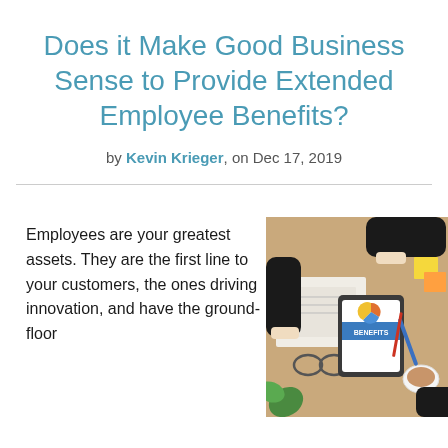Does it Make Good Business Sense to Provide Extended Employee Benefits?
by Kevin Krieger, on Dec 17, 2019
Employees are your greatest assets. They are the first line to your customers, the ones driving innovation, and have the ground-floor
[Figure (photo): Overhead view of business people at a desk reviewing documents with a tablet showing 'BENEFITS' on screen, surrounded by office supplies and a coffee cup.]